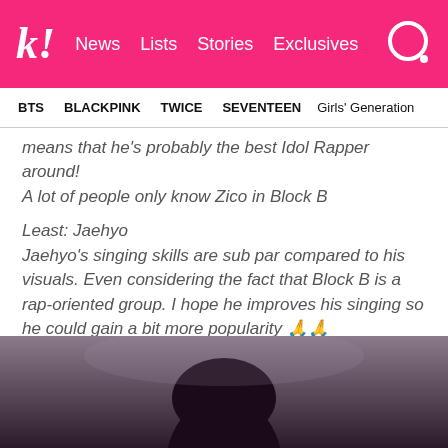k! News Lists Stories Exclusives
BTS BLACKPINK TWICE SEVENTEEN Girls' Generation
means that he's probably the best Idol Rapper around!
A lot of people only know Zico in Block B
Least: Jaehyo
Jaehyo's singing skills are sub par compared to his visuals. Even considering the fact that Block B is a rap-oriented group. I hope he improves his singing so he could gain a bit more popularity 🙏🙏
[Figure (photo): Photo of a person with dark hair, shot from behind/top angle against a muted gray-purple background]